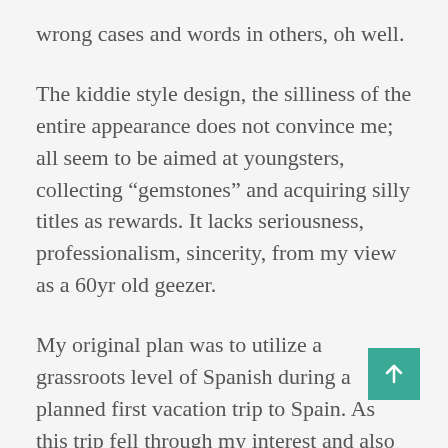wrong cases and words in others, oh well.
The kiddie style design, the silliness of the entire appearance does not convince me; all seem to be aimed at youngsters, collecting “gemstones” and acquiring silly titles as rewards. It lacks seriousness, professionalism, sincerity, from my view as a 60yr old geezer.
My original plan was to utilize a grassroots level of Spanish during a planned first vacation trip to Spain. As this trip fell through my interest and also my eagerness naturally dropped alike. I will stop hunting for XPs, gemstones and victory laps in weekly challenges now.
And maybe peek into some other language